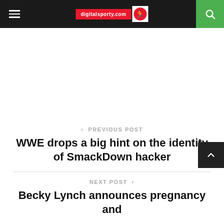digitalsporty.com
[Figure (other): White advertisement space area]
< PREVIOUS POST
WWE drops a big hint on the identity of SmackDown hacker
NEXT POST >
Becky Lynch announces pregnancy and